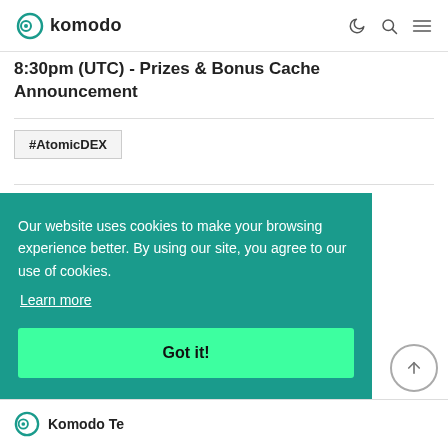komodo (logo + nav icons)
8:30pm (UTC) - Prizes & Bonus Cache Announcement
#AtomicDEX
Our website uses cookies to make your browsing experience better. By using our site, you agree to our use of cookies.
Learn more
Got it!